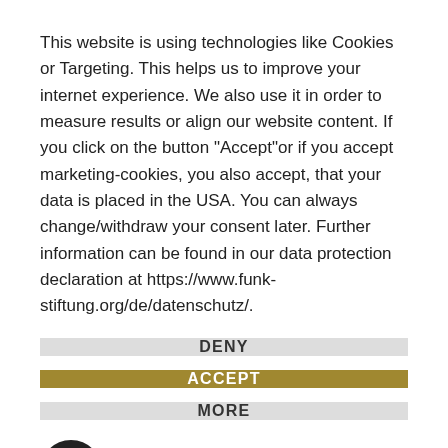This website is using technologies like Cookies or Targeting. This helps us to improve your internet experience. We also use it in order to measure results or align our website content. If you click on the button "Accept"or if you accept marketing-cookies, you also accept, that your data is placed in the USA. You can always change/withdraw your consent later. Further information can be found in our data protection declaration at https://www.funk-stiftung.org/de/datenschutz/.
DENY
ACCEPT
MORE
[Figure (logo): Usercentrics logo with fingerprint icon and 'Powered by usercentrics' text]